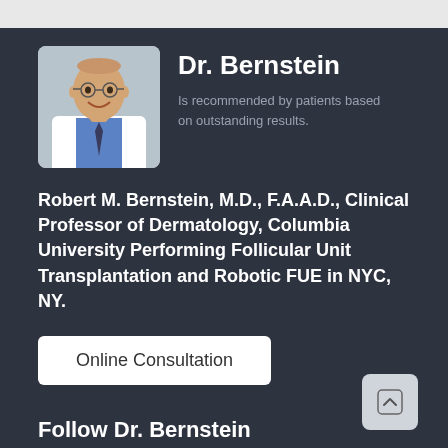[Figure (photo): Photo of Dr. Bernstein, a bald smiling man in a white coat and tie]
Dr. Bernstein
Is recommended by patients based on outstanding results.
Robert M. Bernstein, M.D., F.A.A.D., Clinical Professor of Dermatology, Columbia University Performing Follicular Unit Transplantation and Robotic FUE in NYC, NY.
Online Consultation
Follow Dr. Bernstein
[Figure (logo): Facebook, Twitter, and YouTube social media icons in blue]